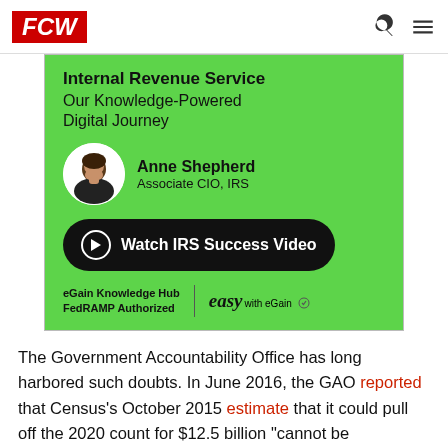FCW
[Figure (infographic): Advertisement banner for Internal Revenue Service eGain Knowledge Hub featuring Anne Shepherd, Associate CIO IRS. Green background with bold title 'Internal Revenue Service Our Knowledge-Powered Digital Journey', person photo, name and title, a 'Watch IRS Success Video' button, and eGain branding with 'easy with eGain' script text and FedRAMP Authorized notice.]
The Government Accountability Office has long harbored such doubts. In June 2016, the GAO reported that Census's October 2015 estimate that it could pull off the 2020 count for $12.5 billion "cannot be considered reliable" because the estimate did not meet best practices and did not fully account for risks associated with the new technologies.